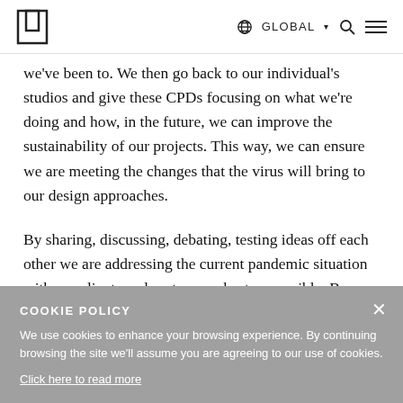GLOBAL
we've been to. We then go back to our individual's studios and give these CPDs focusing on what we're doing and how, in the future, we can improve the sustainability of our projects. This way, we can ensure we are meeting the changes that the virus will bring to our design approaches.
By sharing, discussing, debating, testing ideas off each other we are addressing the current pandemic situation with our clients and partners as best as possible. By
COOKIE POLICY
We use cookies to enhance your browsing experience. By continuing browsing the site we'll assume you are agreeing to our use of cookies.
Click here to read more